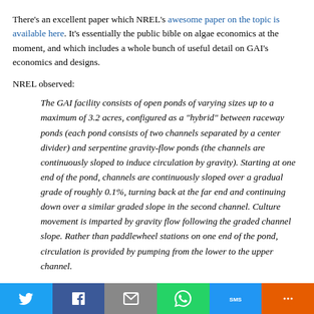There's an excellent paper which NREL's awesome paper on the topic is available here. It's essentially the public bible on algae economics at the moment, and which includes a whole bunch of useful detail on GAI's economics and designs.
NREL observed:
The GAI facility consists of open ponds of varying sizes up to a maximum of 3.2 acres, configured as a "hybrid" between raceway ponds (each pond consists of two channels separated by a center divider) and serpentine gravity-flow ponds (the channels are continuously sloped to induce circulation by gravity). Starting at one end of the pond, channels are continuously sloped over a gradual grade of roughly 0.1%, turning back at the far end and continuing down over a similar graded slope in the second channel. Culture movement is imparted by gravity flow following the graded channel slope. Rather than paddlewheel stations on one end of the pond, circulation is provided by pumping from the lower to the upper channel.
At the time NREL projected two scenarios for GAI designs. One, that it would cost $2.2 million to develop a 10-acre GAI system. In another
[Figure (other): Social media sharing bar with buttons for Twitter, Facebook, Email, WhatsApp, SMS, and More]